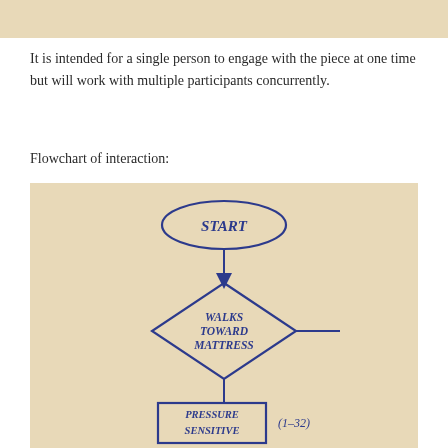[Figure (other): Top beige/tan banner strip across the full width of the page]
It is intended for a single person to engage with the piece at one time but will work with multiple participants concurrently.
Flowchart of interaction:
[Figure (flowchart): Hand-drawn flowchart on beige background. Shows: START oval at top, arrow down to a diamond shape labeled 'WALKS TOWARD MATTRESS', arrow down to a rectangle labeled 'PRESSURE SENSITIVE'. To the right of the rectangle is '(1-32)'.]